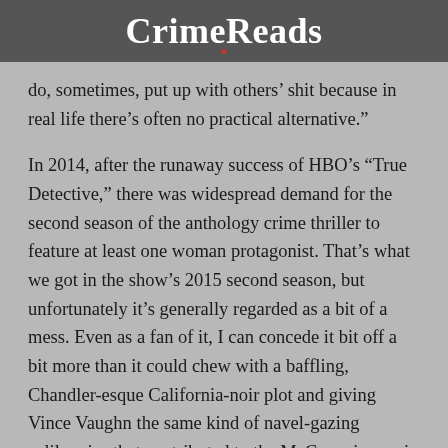CrimeReads
do, sometimes, put up with others’ shit because in real life there’s often no practical alternative.”
In 2014, after the runaway success of HBO’s “True Detective,” there was widespread demand for the second season of the anthology crime thriller to feature at least one woman protagonist. That’s what we got in the show’s 2015 second season, but unfortunately it’s generally regarded as a bit of a mess. Even as a fan of it, I can concede it bit off a bit more than it could chew with a baffling, Chandler-esque California-noir plot and giving Vince Vaughn the same kind of navel-gazing soliloquies that contributed to the McConnaisance in the first season